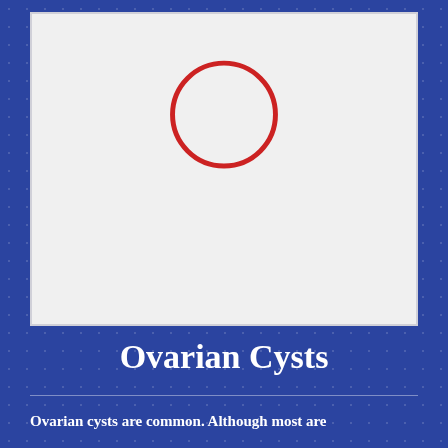[Figure (illustration): A white/light gray rectangular image area with a red circle outline near the top center, representing an ovarian cyst diagram or medical illustration placeholder.]
Ovarian Cysts
Ovarian cysts are common. Although most are